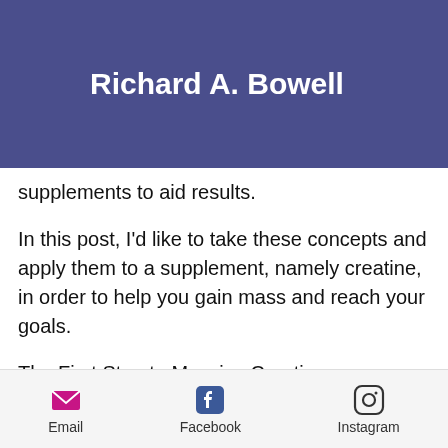Richard A. Bowell
supplements to aid results.
In this post, I'd like to take these concepts and apply them to a supplement, namely creatine, in order to help you gain mass and reach your goals.
The First Step to Massive Creatine Metabolism
The biggest mistake many bodybuilders make when implementing creatine into their life is forgetting to actually start taking it. This is one of the biggest keys to gaining the maximum effect: eating enough in order for
Email   Facebook   Instagram